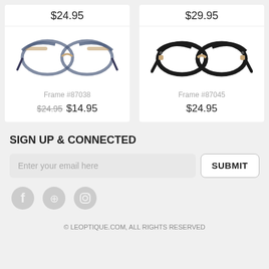$24.95
[Figure (photo): Blue and transparent cat-eye glasses frames, Frame #87038]
Frame #87038
$24.95  $14.95
$29.95
[Figure (photo): Black cat-eye glasses frames, Frame #87045]
Frame #87045
$24.95
SIGN UP & CONNECTED
Enter your email here
SUBMIT
[Figure (other): Social media icons: Facebook, Pinterest, Instagram]
© LEOPTIQUE.COM, ALL RIGHTS RESERVED